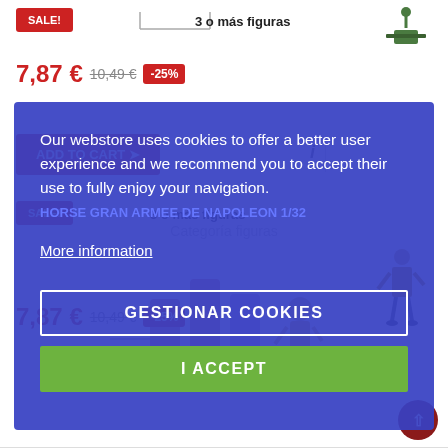SALE!
3 o más figuras
7,87 € 10,49 € -25%
ADD TO CART
Our webstore uses cookies to offer a better user experience and we recommend you to accept their use to fully enjoy your navigation.
HORSE GRAN ARMEE DE NAPOLEON 1/32
More information
GESTIONAR COOKIES
I ACCEPT
SALE!
3 o más figuras
7,87 € 10,49 € -25%